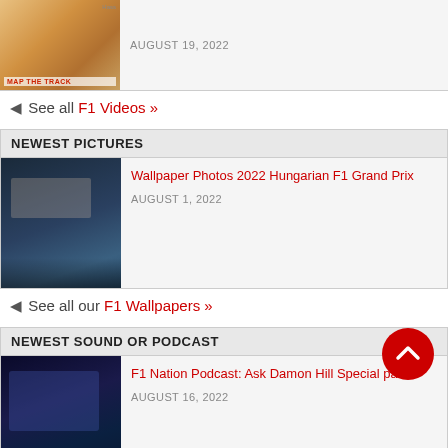[Figure (photo): Haas F1 video thumbnail with drivers, colorful background, MAP THE TRACK text]
AUGUST 19, 2022
⊲ See all F1 Videos »
NEWEST PICTURES
[Figure (photo): F1 car on track at Hungarian Grand Prix, wide angle view of race start]
Wallpaper Photos 2022 Hungarian F1 Grand Prix
AUGUST 1, 2022
⊲ See all our F1 Wallpapers »
NEWEST SOUND OR PODCAST
[Figure (photo): F1 car close-up in blue tones for podcast section]
F1 Nation Podcast: Ask Damon Hill Special part 2
AUGUST 16, 2022
⊲ Listen to all our F1 Sounds »
2022 DRIVERS CHAMPIONSHIP
[Figure (photo): Max Verstappen driver headshot]
[Figure (photo): Netherlands flag]
Max Verstappen
258